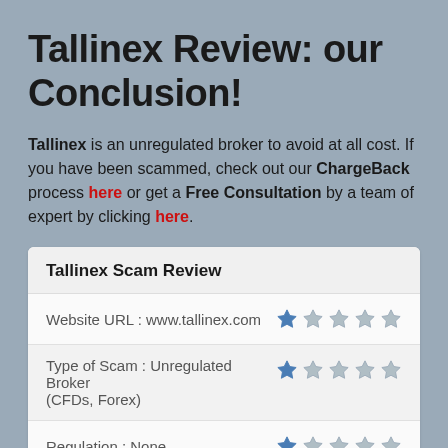Tallinex Review: our Conclusion!
Tallinex is an unregulated broker to avoid at all cost. If you have been scammed, check out our ChargeBack process here or get a Free Consultation by a team of expert by clicking here.
|  | Rating |
| --- | --- |
| Website URL : www.tallinex.com | 1/5 stars |
| Type of Scam : Unregulated Broker (CFDs, Forex) | 1/5 stars |
| Regulation : None | 1/5 stars |